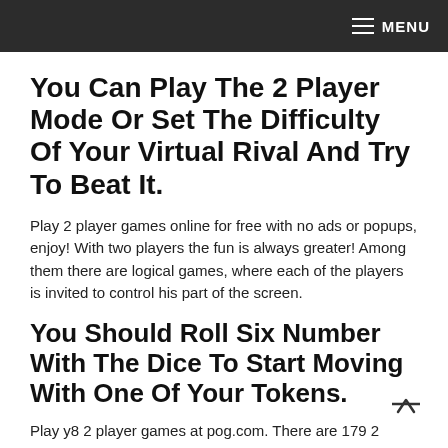MENU
You Can Play The 2 Player Mode Or Set The Difficulty Of Your Virtual Rival And Try To Beat It.
Play 2 player games online for free with no ads or popups, enjoy! With two players the fun is always greater! Among them there are logical games, where each of the players is invited to control his part of the screen.
You Should Roll Six Number With The Dice To Start Moving With One Of Your Tokens.
Play y8 2 player games at pog.com. There are 179 2 player games at bestgames.com. Hadapi pemain lain dalam game papan, game mmo, game strategi, dan bahkan game sosial dalam koleksi game 2 pemain yang hebat ini.
This Category Has A Surprising